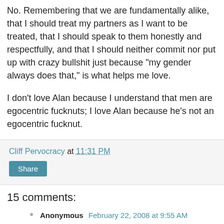No. Remembering that we are fundamentally alike, that I should treat my partners as I want to be treated, that I should speak to them honestly and respectfully, and that I should neither commit nor put up with crazy bullshit just because "my gender always does that," is what helps me love.
I don't love Alan because I understand that men are egocentric fucknuts; I love Alan because he's not an egocentric fucknut.
Cliff Pervocracy at 11:31 PM
Share
15 comments:
Anonymous February 22, 2008 at 9:55 AM
Two points:
1. Not that it gives the book much more validity, but it may be worth considering how applicable the book is to older